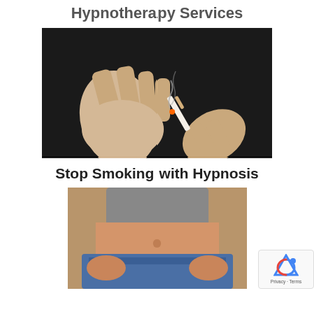Hypnotherapy Services
[Figure (photo): A hand pushing away a cigarette being held by another hand, dark background with smoke rising]
Stop Smoking with Hypnosis
[Figure (photo): Person in grey top holding waistband of oversized jeans showing weight loss, cropped torso shot]
[Figure (other): reCAPTCHA badge with Privacy and Terms text]